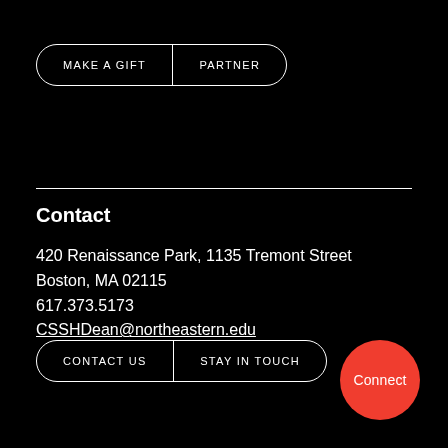[Figure (other): Two-part pill-shaped button group: MAKE A GIFT | PARTNER]
Contact
420 Renaissance Park, 1135 Tremont Street
Boston, MA 02115
617.373.5173
CSSHDean@northeastern.edu
[Figure (other): Two-part pill-shaped button group: CONTACT US | STAY IN TOUCH]
Connect